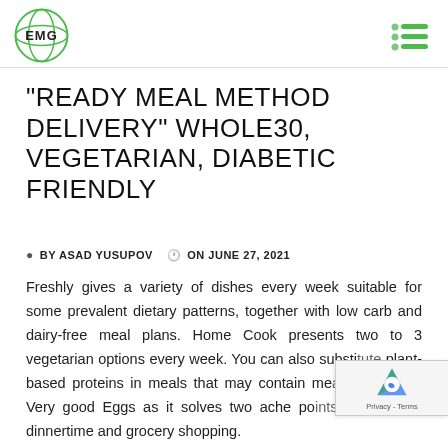EMG logo and navigation menu
"READY MEAL METHOD DELIVERY" WHOLE30, VEGETARIAN, DIABETIC FRIENDLY
BY ASAD YUSUPOV  ON JUNE 27, 2021
Freshly gives a variety of dishes every week suitable for some prevalent dietary patterns, together with low carb and dairy-free meal plans. Home Cook presents two to 3 vegetarian options every week. You can also substitute plant-based proteins in meals that may contain me... of us love Very good Eggs as it solves two ache po... parents, dinnertime and grocery shopping...